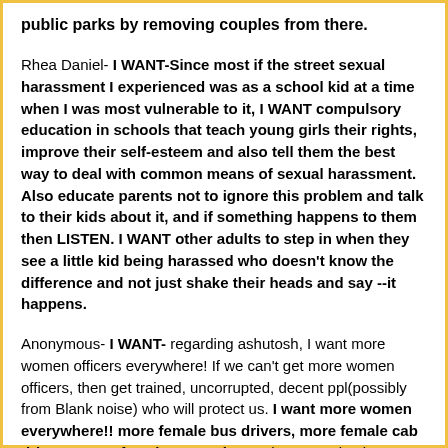public parks by removing couples from there.
Rhea Daniel- I WANT-Since most if the street sexual harassment I experienced was as a school kid at a time when I was most vulnerable to it, I WANT compulsory education in schools that teach young girls their rights, improve their self-esteem and also tell them the best way to deal with common means of sexual harassment. Also educate parents not to ignore this problem and talk to their kids about it, and if something happens to them then LISTEN. I WANT other adults to step in when they see a little kid being harassed who doesn't know the difference and not just shake their heads and say --it happens.
Anonymous- I WANT- regarding ashutosh, I want more women officers everywhere! If we can't get more women officers, then get trained, uncorrupted, decent ppl(possibly from Blank noise) who will protect us. I want more women everywhere!! more female bus drivers, more female cab drivers, more female everywhere.. there are simply too many men out there.. we need to show these indecent men